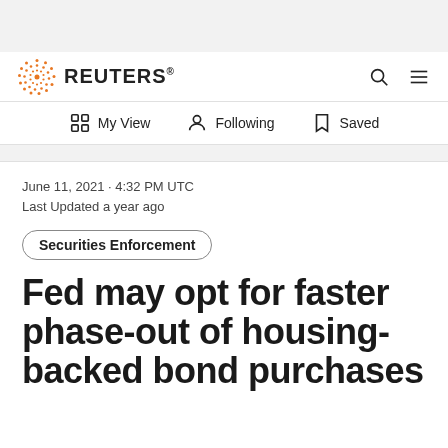REUTERS
My View  Following  Saved
June 11, 2021 · 4:32 PM UTC
Last Updated a year ago
Securities Enforcement
Fed may opt for faster phase-out of housing-backed bond purchases